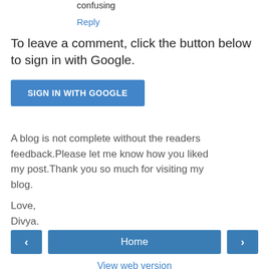confusing
Reply
To leave a comment, click the button below to sign in with Google.
SIGN IN WITH GOOGLE
A blog is not complete without the readers feedback.Please let me know how you liked my post.Thank you so much for visiting my blog.
Love,
Divya.
Home | View web version | Powered by Blogger